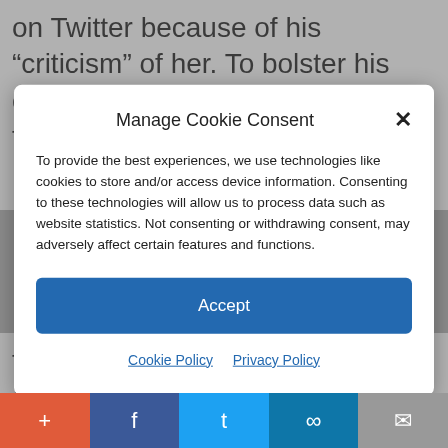on Twitter because of his “criticism” of her. To bolster his claim, Hikind cited a recent federal appeals court decision
Manage Cookie Consent
To provide the best experiences, we use technologies like cookies to store and/or access device information. Consenting to these technologies will allow us to process data such as website statistics. Not consenting or withdrawing consent, may adversely affect certain features and functions.
Accept
Cookie Policy  Privacy Policy
that she blocked Hikind “because of the